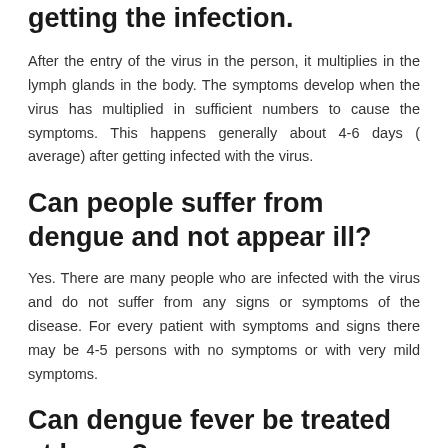getting the infection.
After the entry of the virus in the person, it multiplies in the lymph glands in the body. The symptoms develop when the virus has multiplied in sufficient numbers to cause the symptoms. This happens generally about 4-6 days ( average) after getting infected with the virus.
Can people suffer from dengue and not appear ill?
Yes. There are many people who are infected with the virus and do not suffer from any signs or symptoms of the disease. For every patient with symptoms and signs there may be 4-5 persons with no symptoms or with very mild symptoms.
Can dengue fever be treated at home?